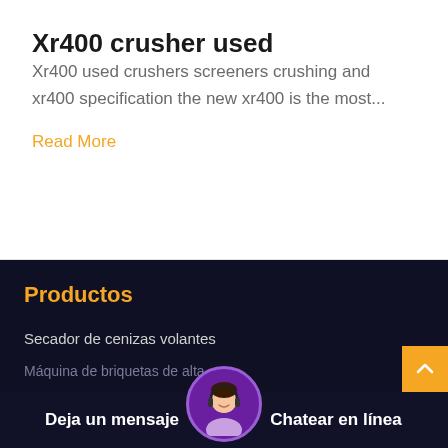Xr400 crusher used
Xr400 used crushers screeners crushing and xr400 specification the new xr400 is the most...
Read More
Productos
Secador de cenizas volantes
Máquina de briquetas de alta
Deja un mensaje
Chatear en línea